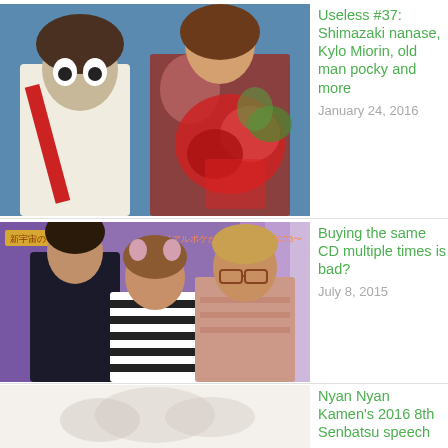[Figure (photo): Two women posing together; one in ghost/horror costume with wide eyes, the other in a floral dress holding a large red bouquet of flowers, against a blue background.]
Useless #37: Shimazaki nanase, Kylo Miorin, old man pocky and more
January 24, 2016
[Figure (photo): Three people on a TV show set with colorful background; a man in black on left, a young woman with cat ear headband in striped top in center, and a man with glasses in striped shirt on right.]
Buying the same CD multiple times is bad?
July 8, 2015
[Figure (photo): Partial photo visible at bottom of page, showing a white/light colored background with indistinct figures.]
Nyan Nyan Kamen's 2016 8th Senbatsu speech